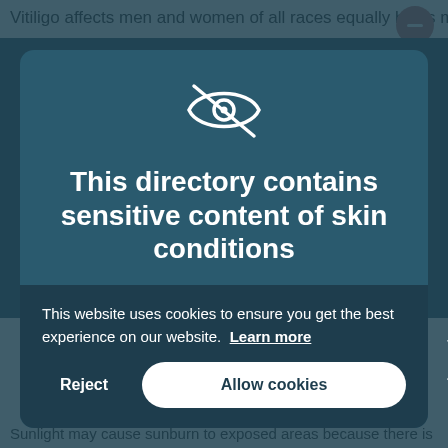Vitiligo affects men and women of all races equally but is mo
[Figure (screenshot): Modal dialog overlay on a medical website. Shows an eye icon with a strikethrough line, followed by the title 'This directory contains sensitive content of skin conditions', a subtitle 'This icon will show when the sensitive content is present', and a cookie consent banner with Reject and Allow cookies buttons.]
This directory contains sensitive content of skin conditions
This icon will show when the sensitive content is present
This website uses cookies to ensure you get the best experience on our website.
Reject
Allow cookies
Sunlight may cause sunburn to exposed areas because there is